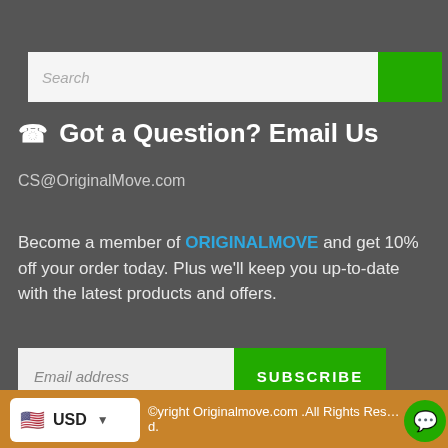[Figure (screenshot): Search input field with placeholder text 'Search' and a green search button on a dark grey background]
☎ Got a Question? Email Us
CS@OriginalMove.com
Become a member of ORIGINALMOVE and get 10% off your order today. Plus we'll keep you up-to-date with the latest products and offers.
[Figure (screenshot): Email address input field with placeholder text and a green SUBSCRIBE button]
© Copyright Originalmove.com .All Rights Reserved. USD currency selector flag. Chat button.